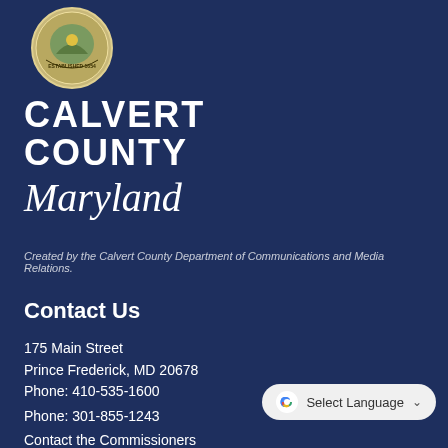[Figure (logo): Calvert County Maryland circular seal/emblem with decorative imagery]
CALVERT COUNTY Maryland
Created by the Calvert County Department of Communications and Media Relations.
Contact Us
175 Main Street
Prince Frederick, MD 20678
Phone: 410-535-1600
Phone: 301-855-1243
Contact the Commissioners
[Figure (other): Google Translate widget button with G logo and 'Select Language' dropdown]